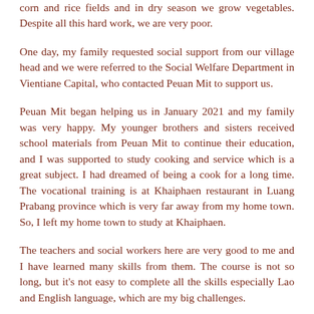corn and rice fields and in dry season we grow vegetables. Despite all this hard work, we are very poor.
One day, my family requested social support from our village head and we were referred to the Social Welfare Department in Vientiane Capital, who contacted Peuan Mit to support us.
Peuan Mit began helping us in January 2021 and my family was very happy. My younger brothers and sisters received school materials from Peuan Mit to continue their education, and I was supported to study cooking and service which is a great subject. I had dreamed of being a cook for a long time. The vocational training is at Khaiphaen restaurant in Luang Prabang province which is very far away from my home town. So, I left my home town to study at Khaiphaen.
The teachers and social workers here are very good to me and I have learned many skills from them. The course is not so long, but it's not easy to complete all the skills especially Lao and English language, which are my big challenges.
However, I will try on my best to complete this training. I realize that my family is waiting for me and I hope that one day I will get a job in a restaurant or in a famous hotel and get a very big salary, then I could support my family and help